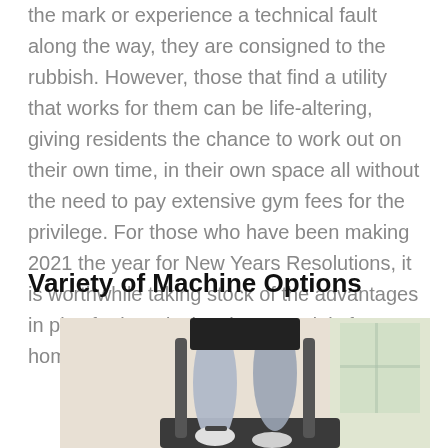the mark or experience a technical fault along the way, they are consigned to the rubbish. However, those that find a utility that works for them can be life-altering, giving residents the chance to work out on their own time, in their own space all without the need to pay extensive gym fees for the privilege. For those who have been making 2021 the year for New Years Resolutions, it is worthwhile taking stock of the advantages in play for introducing these models for home.
Variety of Machine Options
[Figure (photo): Photo of a person's legs using an elliptical or treadmill exercise machine in a bright room, viewed from above.]